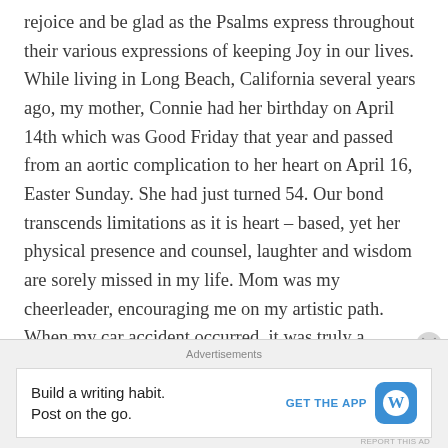rejoice and be glad as the Psalms express throughout their various expressions of keeping Joy in our lives. While living in Long Beach, California several years ago, my mother, Connie had her birthday on April 14th which was Good Friday that year and passed from an aortic complication to her heart on April 16, Easter Sunday. She had just turned 54. Our bond transcends limitations as it is heart – based, yet her physical presence and counsel, laughter and wisdom are sorely missed in my life. Mom was my cheerleader, encouraging me on my artistic path. When my car accident occurred, it was truly a miracle that I survived, let alone still had
Advertisements
Build a writing habit. Post on the go.
GET THE APP